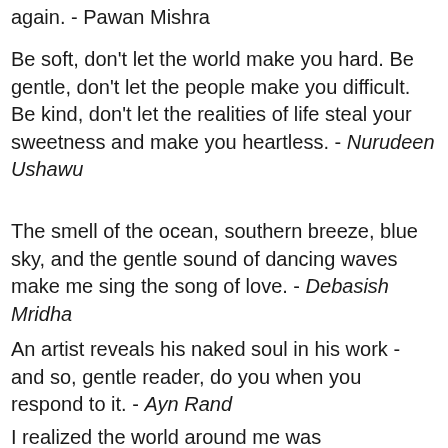again. - Pawan Mishra
Be soft, don't let the world make you hard. Be gentle, don't let the people make you difficult. Be kind, don't let the realities of life steal your sweetness and make you heartless. - Nurudeen Ushawu
The smell of the ocean, southern breeze, blue sky, and the gentle sound of dancing waves make me sing the song of love. - Debasish Mridha
An artist reveals his naked soul in his work - and so, gentle reader, do you when you respond to it. - Ayn Rand
I realized the world around me was